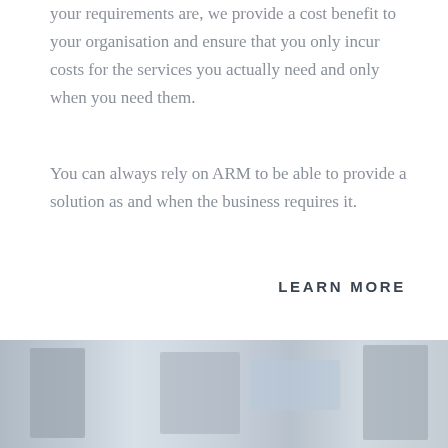your requirements are, we provide a cost benefit to your organisation and ensure that you only incur costs for the services you actually need and only when you need them.
You can always rely on ARM to be able to provide a solution as and when the business requires it.
LEARN MORE
[Figure (photo): A faded/desaturated photo strip showing office workers or professionals in a business environment]